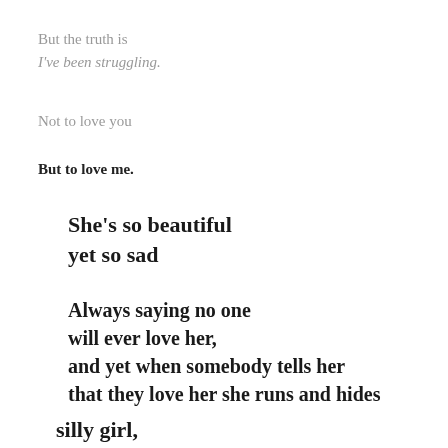But the truth is
I've been struggling.
Not to love you
But to love me.
She's so beautiful
yet so sad
Always saying no one
will ever love her,
and yet when somebody tells her
that they love her she runs and hides
silly girl,